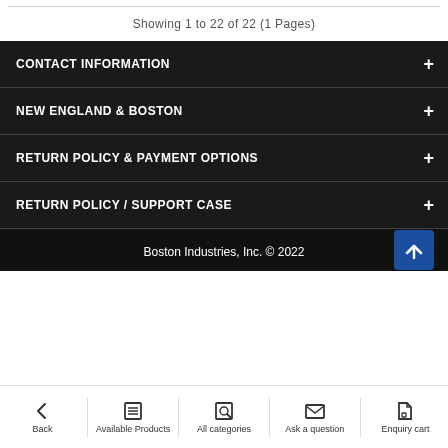Showing 1 to 22 of 22 (1 Pages)
CONTACT INFORMATION
NEW ENGLAND & BOSTON
RETURN POLICY & PAYMENT OPTIONS
RETURN POLICY / SUPPORT CASE
Boston Industries, Inc. © 2022
[Figure (screenshot): Bottom navigation bar with icons: Back, Available Products, All categories, Ask a question, Enquiry cart]